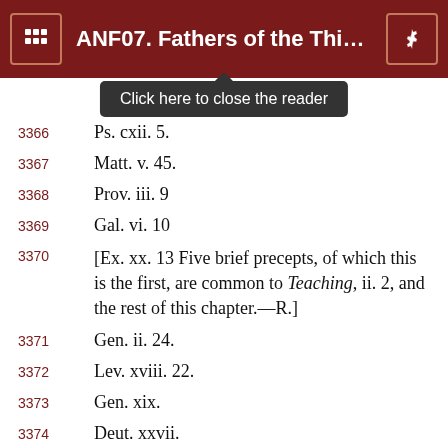ANF07. Fathers of the Third a…
[Figure (screenshot): Tooltip popup: Click here to close the reader]
3366   Ps. cxii. 5.
3367   Matt. v. 45.
3368   Prov. iii. 9
3369   Gal. vi. 10
3370   [Ex. xx. 13 Five brief precepts, of which this is the first, are common to Teaching, ii. 2, and the rest of this chapter.—R.]
3371   Gen. ii. 24.
3372   Lev. xviii. 22.
3373   Gen. xix.
3374   Deut. xxvii.